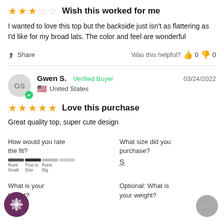★★★☆☆  Wish this worked for me
I wanted to love this top but the backside just isn't as flattering as I'd like for my broad lats. The color and feel are wonderful
Share  |  Was this helpful?  👍 0  👎 0
Gwen S.  Verified Buyer  03/24/2022  United States
★★★★★  Love this purchase
Great quality top, super cute design
How would you rate the fit?
What size did you purchase? S
What is your height?
Optional: What is your weight?